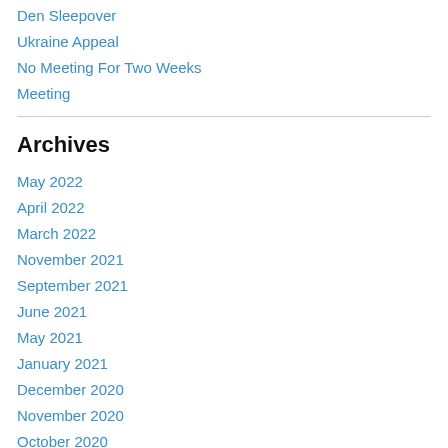Den Sleepover
Ukraine Appeal
No Meeting For Two Weeks
Meeting
Archives
May 2022
April 2022
March 2022
November 2021
September 2021
June 2021
May 2021
January 2021
December 2020
November 2020
October 2020
January 2020